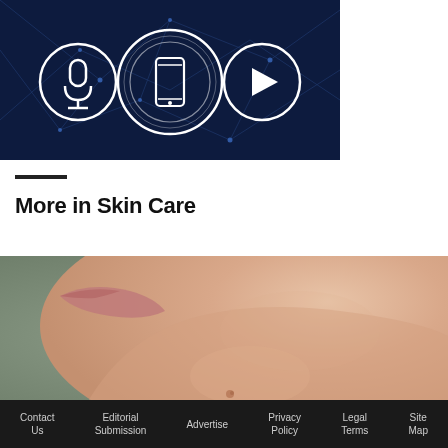[Figure (illustration): Dark blue technology background with three circular icons: a microphone icon on the left, a smartphone with sound waves in the center, and a play button on the right, connected by glowing network lines]
More in Skin Care
[Figure (photo): Close-up profile photo of a person's face from the chin and jaw area, showing smooth skin with a small blemish, against a blurred gray-green background]
Contact Us   Editorial Submission   Advertise   Privacy Policy   Legal Terms   Site Map